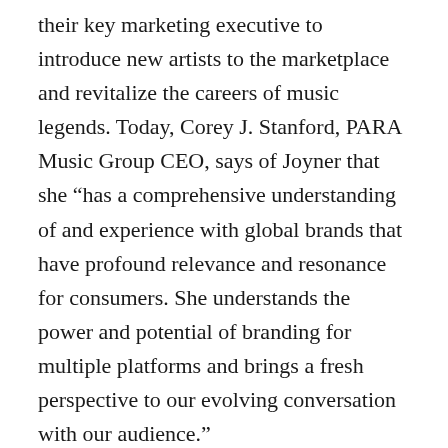their key marketing executive to introduce new artists to the marketplace and revitalize the careers of music legends. Today, Corey J. Stanford, PARA Music Group CEO, says of Joyner that she “has a comprehensive understanding of and experience with global brands that have profound relevance and resonance for consumers. She understands the power and potential of branding for multiple platforms and brings a fresh perspective to our evolving conversation with our audience.”
Joyner is an active member of the National Academy of Recording Arts and Sciences (NARAS) and has been recognized with two